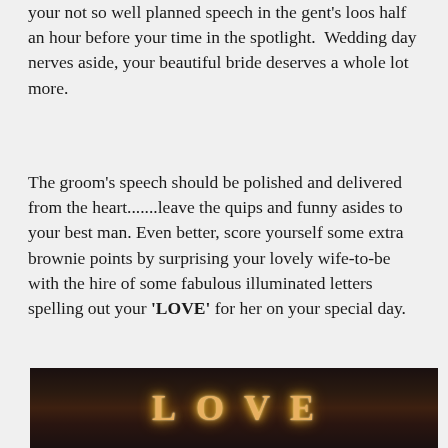your not so well planned speech in the gent's loos half an hour before your time in the spotlight. Wedding day nerves aside, your beautiful bride deserves a whole lot more.
The groom's speech should be polished and delivered from the heart.......leave the quips and funny asides to your best man. Even better, score yourself some extra brownie points by surprising your lovely wife-to-be with the hire of some fabulous illuminated letters spelling out your 'LOVE' for her on your special day.
[Figure (photo): Dark photograph showing large illuminated letters spelling LOVE glowing warmly against a dark background]